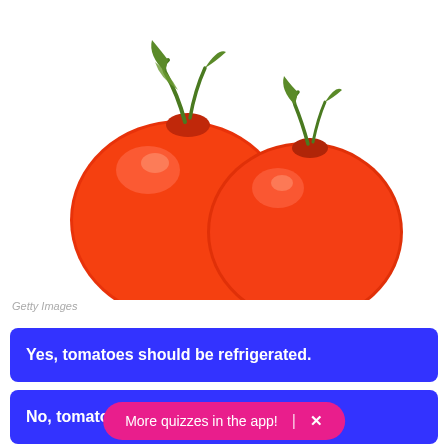[Figure (photo): Two red ripe tomatoes on a white background, photographed from above/front, with green stems visible.]
Getty Images
Yes, tomatoes should be refrigerated.
No, tomatoes should not be refrigerated.
More quizzes in the app!  ×